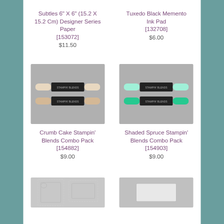Subtles 6" X 6" (15.2 X 15.2 Cm) Designer Series Paper [153072] $11.50
Tuxedo Black Memento Ink Pad [132708] $6.00
[Figure (photo): Two tan/crumb cake colored dual-ended Stampin' Blends markers on grey background]
Crumb Cake Stampin' Blends Combo Pack [154882] $9.00
[Figure (photo): Two green/shaded spruce colored dual-ended Stampin' Blends markers on grey background]
Shaded Spruce Stampin' Blends Combo Pack [154903] $9.00
[Figure (photo): Partially visible die set or stamp product on grey background - bottom portion cropped]
[Figure (photo): Partially visible stamp or embossing product on grey background - bottom portion cropped]